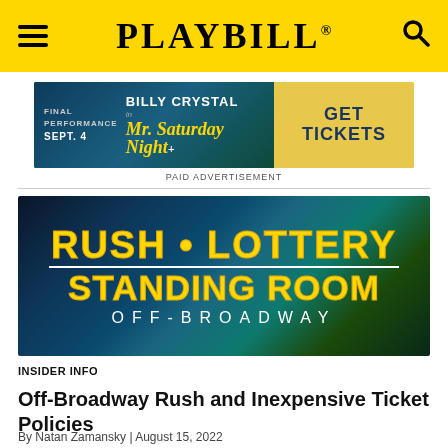PLAYBILL
[Figure (infographic): Advertisement banner for Billy Crystal in Mr. Saturday Night - Final Performance Sept. 4, with GET TICKETS button on yellow background]
PAID ADVERTISEMENT
[Figure (illustration): Promotional image with dark underwater/stage lighting background showing text: RUSH • LOTTERY / STANDING ROOM / OFF-BROADWAY in large yellow and white letters]
INSIDER INFO
Off-Broadway Rush and Inexpensive Ticket Policies
By Natan Zamansky | August 15, 2022